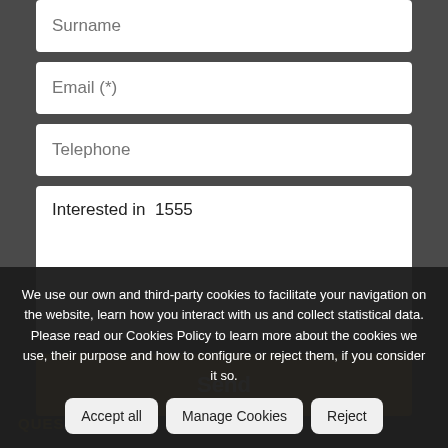Surname
Email (*)
Telephone
Interested in  1555
Send
We use our own and third-party cookies to facilitate your navigation on the website, learn how you interact with us and collect statistical data. Please read our Cookies Policy to learn more about the cookies we use, their purpose and how to configure or reject them, if you consider it so.
Accept all
Manage Cookies
Reject
QUESTION?